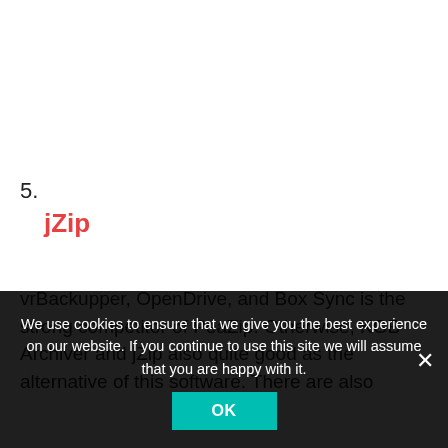5. jZip
vrBackupper, OpenDrive, and Box Sync is the strong competitor of PeaZip. Otherwise, KGB Archiver and jZip also quite good as the alternative of this software. There are also
We use cookies to ensure that we give you the best experience on our website. If you continue to use this site we will assume that you are happy with it.